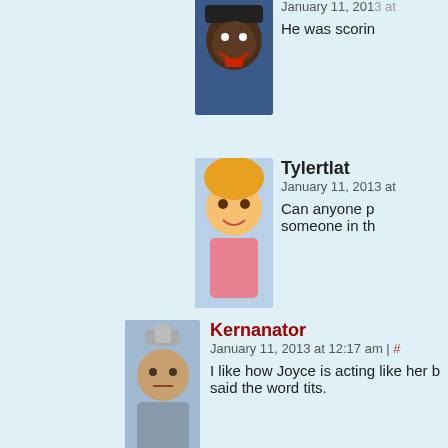[Figure (illustration): Avatar of a character with dark skin, wearing a cap, sticking tongue out, against blue background]
January 11, 2013 at
He was scori
[Figure (illustration): Avatar of a blonde girl with worried expression, anime style]
Tylertlat
January 11, 2013 at
Can anyone p someone in th
[Figure (illustration): Avatar of a character with brown hair looking grumpy, holding something on head]
Kernanator
January 11, 2013 at 12:17 am | #
I like how Joyce is acting like her b said the word tits.
[Figure (illustration): Avatar of a robot-like character on red background]
Plasma Mongoose
January 11, 2013 at 12:2
I think she's trying to s possible fanservice.
[Figure (illustration): Avatar of a character with dark hair]
Aizat
January 11, 2013 at